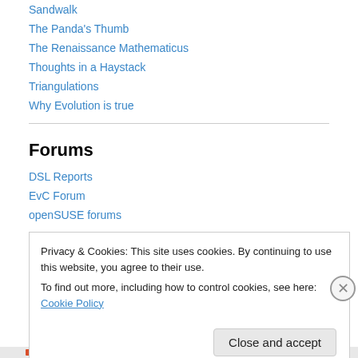Sandwalk
The Panda's Thumb
The Renaissance Mathematicus
Thoughts in a Haystack
Triangulations
Why Evolution is true
Forums
DSL Reports
EvC Forum
openSUSE forums
Privacy & Cookies: This site uses cookies. By continuing to use this website, you agree to their use.
To find out more, including how to control cookies, see here: Cookie Policy
Close and accept